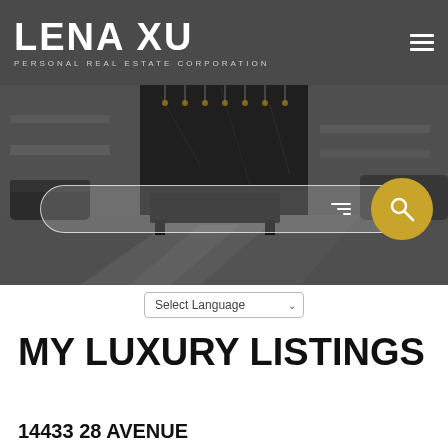LENA XU
PERSONAL REAL ESTATE CORPORATION
[Figure (photo): Interior photo of a modern luxury living room with dark furniture, marble fireplace wall, pendant lighting, and geometric patterned rug]
Select Language
MY LUXURY LISTINGS
14433 28 AVENUE